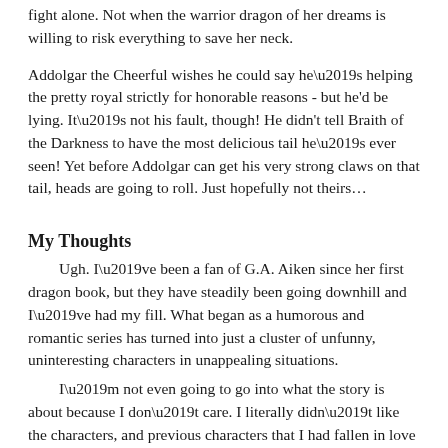fight alone. Not when the warrior dragon of her dreams is willing to risk everything to save her neck.
Addolgar the Cheerful wishes he could say he’s helping the pretty royal strictly for honorable reasons - but he'd be lying. It’s not his fault, though! He didn't tell Braith of the Darkness to have the most delicious tail he’s ever seen! Yet before Addolgar can get his very strong claws on that tail, heads are going to roll. Just hopefully not theirs…
My Thoughts
Ugh. I’ve been a fan of G.A. Aiken since her first dragon book, but they have steadily been going downhill and I’ve had my fill. What began as a humorous and romantic series has turned into just a cluster of unfunny, uninteresting characters in unappealing situations.
I’m not even going to go into what the story is about because I don’t care. I literally didn’t like the characters, and previous characters that I had fallen in love with are just dumb now...which is heartbreaking. The story was asinine, not making sense half the time and the romance was pretty much nonexistent. The characters were more interested in being slapstick than actually having a story which had some substance.